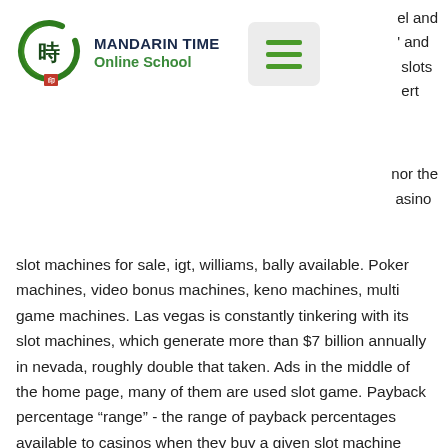[Figure (logo): Mandarin Time Online School logo: green circular brushstroke with Chinese character 時 inside and a small red seal stamp below]
MANDARIN TIME Online School
[Figure (other): Hamburger menu button with three green horizontal lines on light grey rounded rectangle background]
el and ’ and ı slots ıert
nor the asino
slot machines for sale, igt, williams, bally available. Poker machines, video bonus machines, keno machines, multi game machines. Las vegas is constantly tinkering with its slot machines, which generate more than $7 billion annually in nevada, roughly double that taken. Ads in the middle of the home page, many of them are used slot game. Payback percentage “range” - the range of payback percentages available to casinos when they buy a given slot machine from the manufacturer. Las vegas that i can buy a used slot machine and have it shipped to my home? Answer 1 of 7: we have always